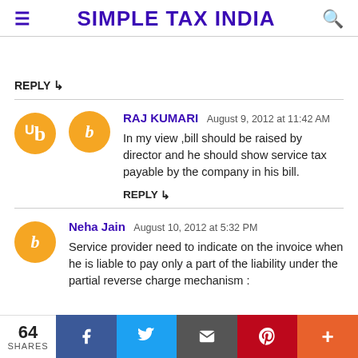SIMPLE TAX INDIA
REPLY
RAJ KUMARI August 9, 2012 at 11:42 AM
In my view ,bill should be raised by director and he should show service tax payable by the company in his bill.
REPLY
Neha Jain August 10, 2012 at 5:32 PM
Service provider need to indicate on the invoice when he is liable to pay only a part of the liability under the partial reverse charge mechanism :
64 SHARES